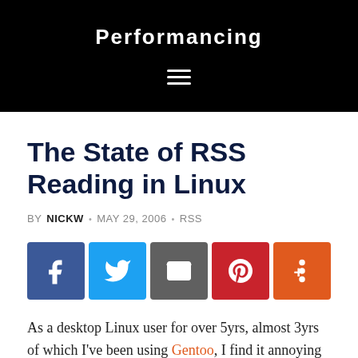Performancing
The State of RSS Reading in Linux
BY NICKW · MAY 29, 2006 · RSS
[Figure (other): Social share buttons: Facebook, Twitter, Email, Pinterest, More]
As a desktop Linux user for over 5yrs, almost 3yrs of which I've been using Gentoo, I find it annoying to say the least